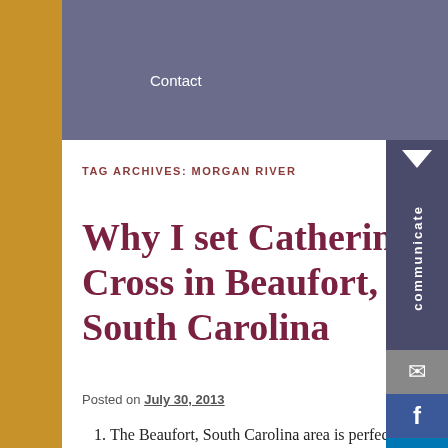Contact
TAG ARCHIVES: MORGAN RIVER
Why I set Catherine's Cross in Beaufort, South Carolina
Posted on July 30, 2013
The Beaufort, South Carolina area is perfect for the plot of Catherine's Cross. Beaufort was founded in 1711. Over the centuries, a number of taverns were located along the waterways in Beaufort County, especially the Beaufort River and the Morgan River. Beer and wine bottles were thrown into the rivers after consumption. I have been